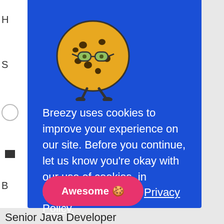[Figure (illustration): Cookie mascot illustration: a round golden-brown cookie character with black spots, round green glasses, and stick legs, appearing to walk]
Breezy uses cookies to improve your experience on our site. Before you continue, let us know you're okay with our use of cookies, in accordance with our Privacy Policy.
Awesome 🍪
Senior Java Developer